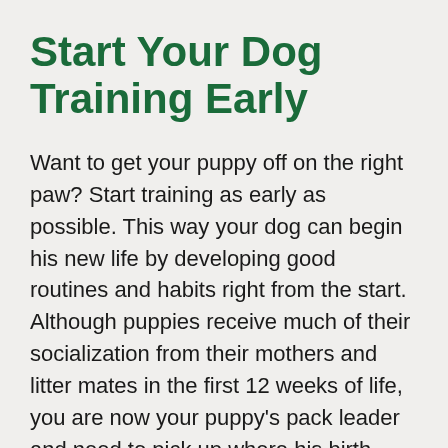Start Your Dog Training Early
Want to get your puppy off on the right paw? Start training as early as possible. This way your dog can begin his new life by developing good routines and habits right from the start. Although puppies receive much of their socialization from their mothers and litter mates in the first 12 weeks of life, you are now your puppy's pack leader and need to pick up where his birth mother left off as a puppy trainer. Bark Busters Puppy Management Program can start a few days after your dog settles into his/her new home. Puppies have short attention spans, so the home environment is the best place to get your puppy to focus. Crate training puppies, house training puppies, and lead training puppies are primary areas in which